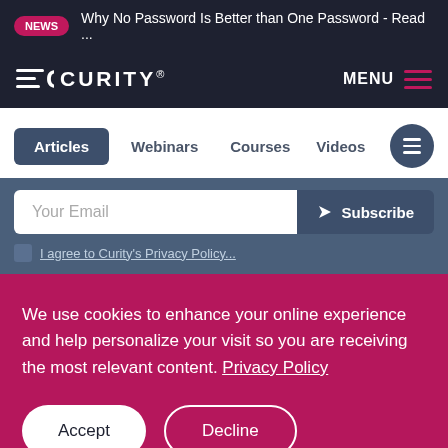NEWS  Why No Password Is Better than One Password - Read ...
[Figure (logo): Curity logo with stylized C icon and CURITY wordmark in white on dark background]
MENU
Articles  Webinars  Courses  Videos
Your Email
Subscribe
I agree to Curity's Privacy Policy...
We use cookies to enhance your online experience and help personalize your visit so you are receiving the most relevant content. Privacy Policy
Accept
Decline